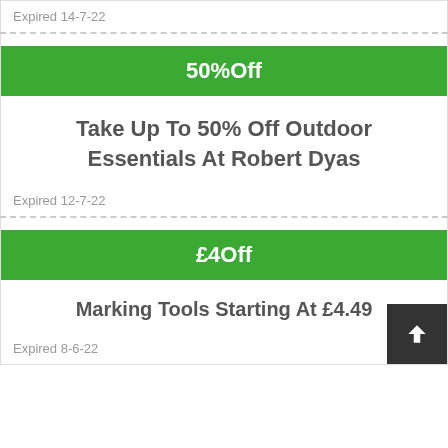Expired 14-7-22
50%Off
Take Up To 50% Off Outdoor Essentials At Robert Dyas
Expired 12-7-22
£4Off
Marking Tools Starting At £4.49
Expired 8-6-22